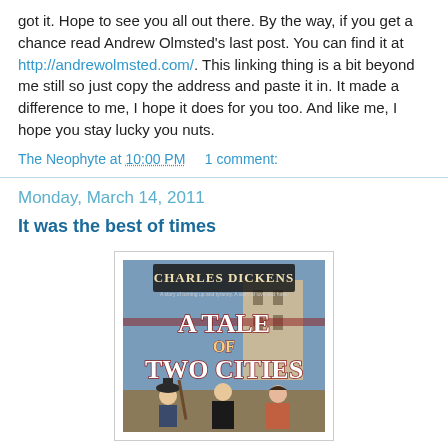got it. Hope to see you all out there. By the way, if you get a chance read Andrew Olmsted's last post. You can find it at http://andrewolmsted.com/. This linking thing is a bit beyond me still so just copy the address and paste it in. It made a difference to me, I hope it does for you too. And like me, I hope you stay lucky you nuts.
The Neophyte at 10:00 PM    1 comment:
Monday, March 14, 2011
It was the best of times
[Figure (illustration): Book cover of 'A Tale of Two Cities' by Charles Dickens, showing the title in large stylized text with historical figures in the background]